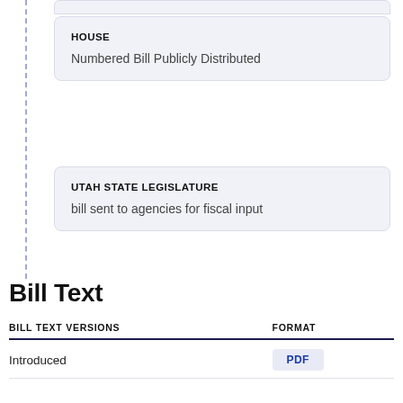HOUSE
Numbered Bill Publicly Distributed
UTAH STATE LEGISLATURE
bill sent to agencies for fiscal input
Bill Text
| BILL TEXT VERSIONS | FORMAT |
| --- | --- |
| Introduced | PDF |